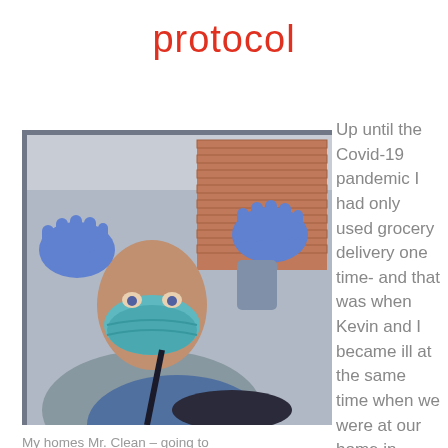protocol
[Figure (photo): A man wearing a teal N95 face mask and blue latex gloves, sitting in a car, raising both hands up with palms facing forward. He has tattoos on his neck and is wearing a gray shirt with a blue jacket. The car is parked near a brick wall visible through the window.]
My homes Mr. Clean – going to
Up until the Covid-19 pandemic I had only used grocery delivery one time- and that was when Kevin and I became ill at the same time when we were at our home in Delaware.